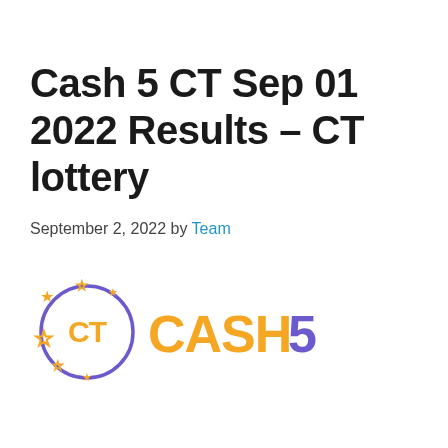Cash 5 CT Sep 01 2022 Results – CT lottery
September 2, 2022 by Team
[Figure (logo): CT Cash 5 lottery logo — a purple circle with orange 'CT' text and orange stars, next to orange bold 'CASH 5' text with the '5' in purple]